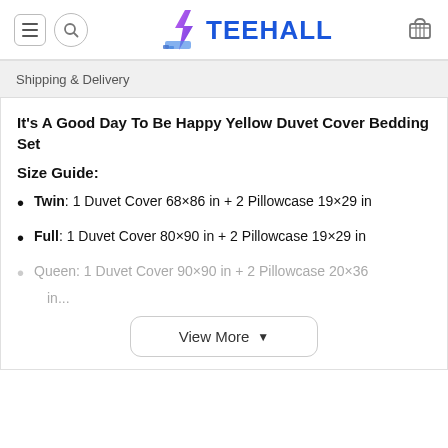TEEHALL
Shipping & Delivery
It's A Good Day To Be Happy Yellow Duvet Cover Bedding Set
Size Guide:
Twin: 1 Duvet Cover 68×86 in + 2 Pillowcase 19×29 in
Full: 1 Duvet Cover 80×90 in + 2 Pillowcase 19×29 in
Queen: 1 Duvet Cover 90×90 in + 2 Pillowcase 20×36 in...